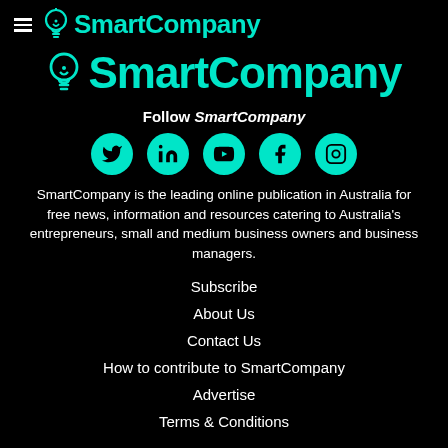[Figure (logo): SmartCompany logo (small, in header bar with hamburger menu) — lightbulb icon and 'SmartCompany' text in teal on black background]
[Figure (logo): SmartCompany logo (large, centered) — lightbulb icon and 'SmartCompany' text in teal on black background]
Follow SmartCompany
[Figure (infographic): Row of five teal circular social media icons: Twitter, LinkedIn, YouTube, Facebook, Instagram]
SmartCompany is the leading online publication in Australia for free news, information and resources catering to Australia's entrepreneurs, small and medium business owners and business managers.
Subscribe
About Us
Contact Us
How to contribute to SmartCompany
Advertise
Terms & Conditions